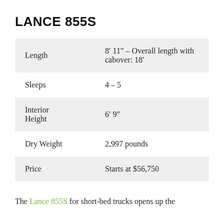LANCE 855S
|  |  |
| --- | --- |
| Length | 8’ 11″ – Overall length with cabover: 18’ |
| Sleeps | 4 – 5 |
| Interior Height | 6’ 9″ |
| Dry Weight | 2,997 pounds |
| Price | Starts at $56,750 |
The Lance 855S for short-bed trucks opens up the